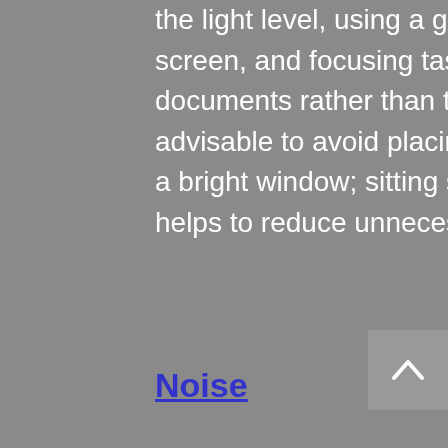the light level, using a good quality antiglare screen, and focusing task lights directly onto work documents rather than the monitor. It is also advisable to avoid placing a monitor screen facing a bright window; sitting sidewards to a window helps to reduce unnecessary glare.
Noise
Noise can affect us in many ways. Prolonged exposure to raised sound levels can result in increased heart rate, elevated blood pressure, and in serious